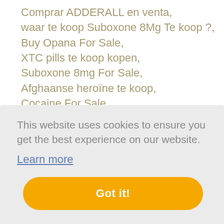Comprar ADDERALL en venta, waar te koop Suboxone 8Mg Te koop ?, Buy Opana For Sale, XTC pills te koop kopen, Suboxone 8mg For Sale, Afghaanse heroïne te koop, Cocaine For Sale, Crystal Meth te koop, Heroin kaufen zum Verkauf Europa, Buy Oxycodone For Sale, waar koop je Opana te koop ?, s isomer ketamine crystals, 10mg Valium / Diazepam For Sale,
This website uses cookies to ensure you get the best experience on our website.
Learn more
Got it!
Kaliumcyanid kaufen Europa,